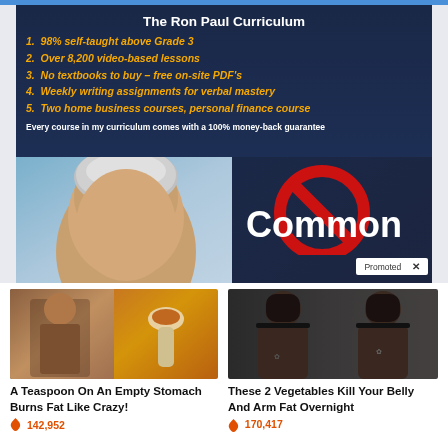The Ron Paul Curriculum
1. 98% self-taught above Grade 3
2. Over 8,200 video-based lessons
3. No textbooks to buy – free on-site PDF's
4. Weekly writing assignments for verbal mastery
5. Two home business courses, personal finance course
Every course in my curriculum comes with a 100% money-back guarantee
[Figure (photo): Photo of Ron Paul (elderly man with white hair) on blue background with red prohibition symbol and text 'Common']
Promoted ×
[Figure (photo): Woman lifting shirt showing abs next to spoon with spices]
A Teaspoon On An Empty Stomach Burns Fat Like Crazy!
🔥 142,952
[Figure (photo): Two women in black bras showing backs before and after weight loss]
These 2 Vegetables Kill Your Belly And Arm Fat Overnight
🔥 170,417